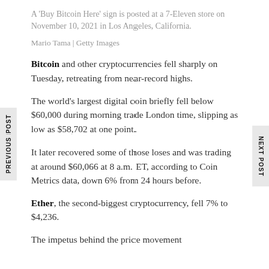A 'Buy Bitcoin Here' sign is posted at a 7-Eleven store on November 10, 2021 in Los Angeles, California.
Mario Tama | Getty Images
Bitcoin and other cryptocurrencies fell sharply on Tuesday, retreating from near-record highs.
The world's largest digital coin briefly fell below $60,000 during morning trade London time, slipping as low as $58,702 at one point.
It later recovered some of those loses and was trading at around $60,066 at 8 a.m. ET, according to Coin Metrics data, down 6% from 24 hours before.
Ether, the second-biggest cryptocurrency, fell 7% to $4,236.
The impetus behind the price movement